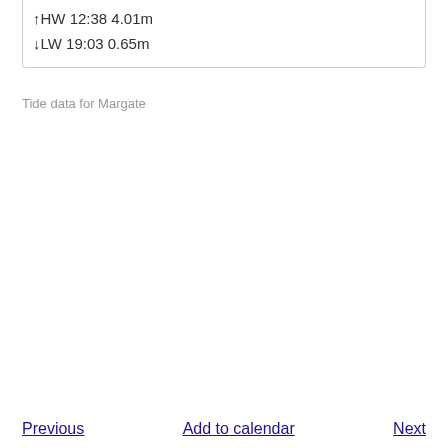↑HW 12:38 4.01m
↓LW 19:03 0.65m
Tide data for Margate
Previous   Add to calendar   Next